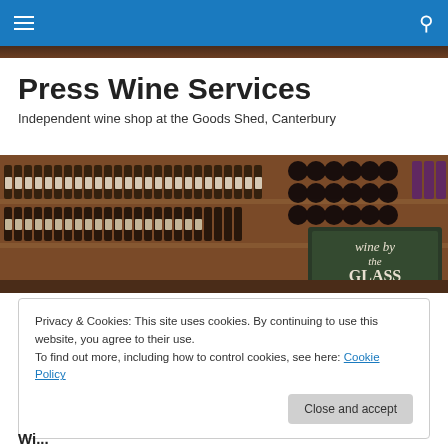Press Wine Services — navigation bar with menu and search icons
Press Wine Services
Independent wine shop at the Goods Shed, Canterbury
[Figure (photo): Interior of a wine shop with shelves full of wine bottles with handwritten labels, and a chalkboard sign reading 'Wine by the Glass']
Privacy & Cookies: This site uses cookies. By continuing to use this website, you agree to their use.
To find out more, including how to control cookies, see here: Cookie Policy
Close and accept
Wi...